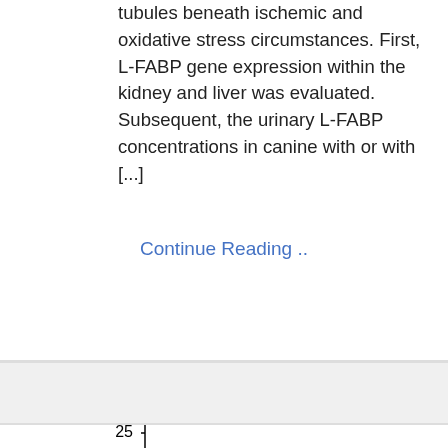tubules beneath ischemic and oxidative stress circumstances. First, L-FABP gene expression within the kidney and liver was evaluated. Subsequent, the urinary L-FABP concentrations in canine with or with [...]
Continue Reading ..
[Figure (bar-chart): Partial bar chart visible at bottom of page showing y-axis labels 15, 20, 25 with label 'per minute' on y-axis. A bar reaching approximately 19 is visible with an asterisk (*) above it and error bars.]